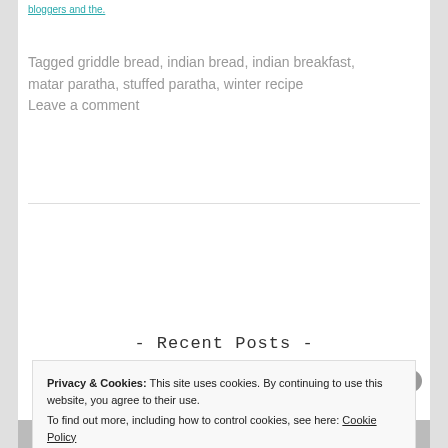bloggers and the.
Tagged griddle bread, indian bread, indian breakfast, matar paratha, stuffed paratha, winter recipe
Leave a comment
[Figure (other): OLDER POSTS button - teal/cyan colored rectangular button with white uppercase bold text]
- Recent Posts -
Privacy & Cookies: This site uses cookies. By continuing to use this website, you agree to their use.
To find out more, including how to control cookies, see here: Cookie Policy
Close and accept